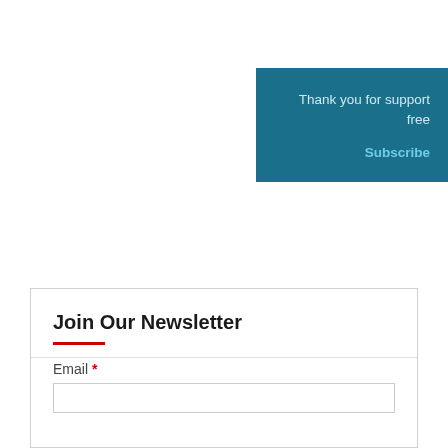Thank you for support free
Subscribe
Join Our Newsletter
Email *